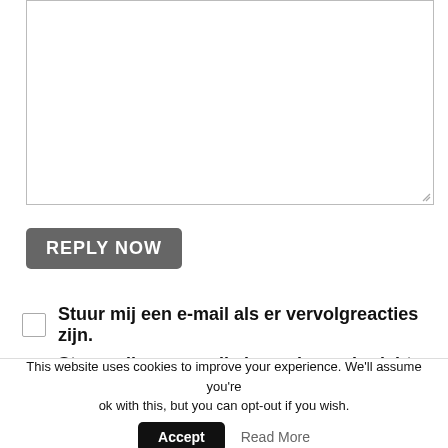[Figure (other): Empty textarea input box with resize handle in bottom-right corner]
REPLY NOW
Stuur mij een e-mail als er vervolgreacties zijn.
Stuur mij een e-mail als er nieuwe berichten zijn.
INFO
Home
Contact us
Disclaimer
Link Exchange
CASINOS BY COUNTRY
This website uses cookies to improve your experience. We'll assume you're ok with this, but you can opt-out if you wish.
Accept
Read More